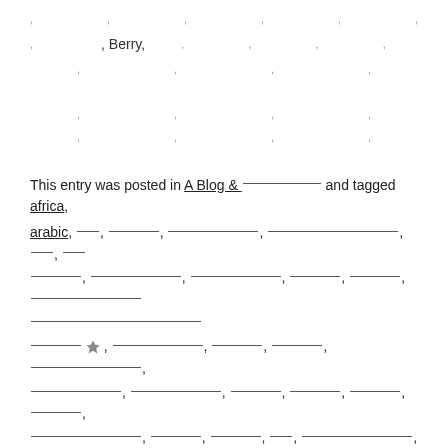, , , , , , , , Berry, , , , , , , , , , , , , , , , , , , , , , , , ,
This entry was posted in A Blog & __________ and tagged africa, arabic, ___, _______, _____________, ________________, ___, ________, __________, _____________, ________, _________, __________________ __________, ◆, _____________, _________, _________, __________________, __________, _____________, _________, _________, ________, _________, ______________, _________, _________, _______, _________________, __________, ______________, _________, _________, background, berry, brown, closeup, crop, cuisine, date, date-palm, Dates fruit, delicious, dessert, diet, dry, east, eating, exotic, fasting, food, fruit, full, green, harvest, healthy, heap, ingredient, islam, isolated, leaf,